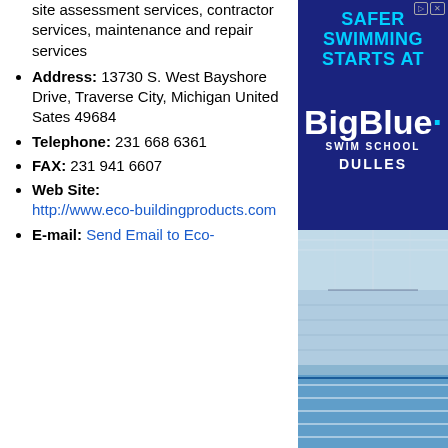site assessment services, contractor services, maintenance and repair services
Address: 13730 S. West Bayshore Drive, Traverse City, Michigan United Sates 49684
Telephone: 231 668 6361
FAX: 231 941 6607
Web Site: http://www.eco-buildingproducts.com
E-mail: Send Email to Eco-
[Figure (photo): Advertisement for BigBlue Swim School Dulles showing a swimming pool facility interior with text 'SAFER SWIMMING STARTS AT BigBlue SWIM SCHOOL DULLES']